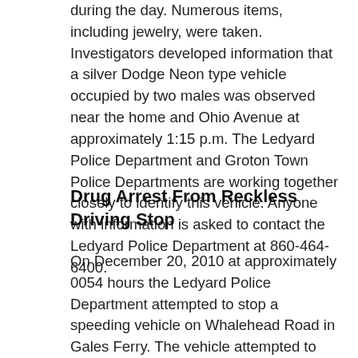during the day. Numerous items, including jewelry, were taken. Investigators developed information that a silver Dodge Neon type vehicle occupied by two males was observed near the home and Ohio Avenue at approximately 1:15 p.m. The Ledyard Police Department and Groton Town Police Departments are working together closely to identify this vehicle. Anyone with information is asked to contact the Ledyard Police Department at 860-464-6400.
Drug Arrest From Reckless Driving Stop
On December 20, 2010 at approximately 0054 hours the Ledyard Police Department attempted to stop a speeding vehicle on Whalehead Road in Gales Ferry. The vehicle attempted to elude Police by turning onto several different streets. The vehicle was finally stopped on Pequot Trail in Ledyard. Once stopped, the operator was found to be in possession of Marijuana, Marihilla Dark P.D.P...